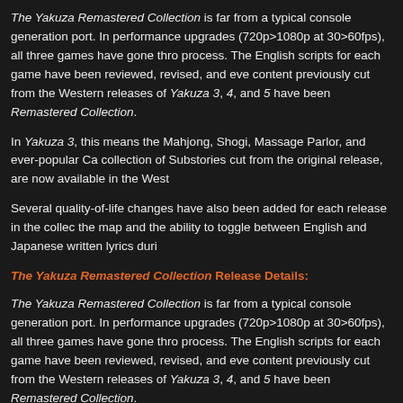The Yakuza Remastered Collection is far from a typical console generation port. In performance upgrades (720p>1080p at 30>60fps), all three games have gone thro process. The English scripts for each game have been reviewed, revised, and eve content previously cut from the Western releases of Yakuza 3, 4, and 5 have been Remastered Collection.
In Yakuza 3, this means the Mahjong, Shogi, Massage Parlor, and ever-popular Ca collection of Substories cut from the original release, are now available in the West
Several quality-of-life changes have also been added for each release in the collec the map and the ability to toggle between English and Japanese written lyrics duri
The Yakuza Remastered Collection Release Details:
The Yakuza Remastered Collection is far from a typical console generation port. In performance upgrades (720p>1080p at 30>60fps), all three games have gone thro process. The English scripts for each game have been reviewed, revised, and eve content previously cut from the Western releases of Yakuza 3, 4, and 5 have been Remastered Collection.
In Yakuza 3, this means the Mahjong, Shogi, Massage Parlor, and ever-popular Ca collection of Substories cut from the original release, are now available in the West
Several quality-of-life changes have also been added for each release in the collec the map and the ability to toggle between English and Japanese written lyrics duri
The Yakuza Remastered Collection is now available to download and play digitally Yakuza 4, and Yakuza 5 – previously only available on the PlayStation 3 – beautifu